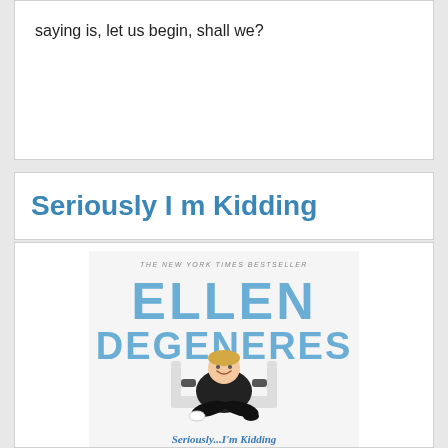saying is, let us begin, shall we?
Seriously I m Kidding
[Figure (illustration): Book cover of 'Seriously...I'm Kidding' by Ellen DeGeneres — The New York Times Bestseller. Cover shows Ellen DeGeneres sitting cross-legged in a white armchair, smiling, wearing a striped long-sleeve shirt and black vest. Large blue letters spell ELLEN DEGENERES at the top. At the bottom the title reads Seriously...I'm Kidding.]